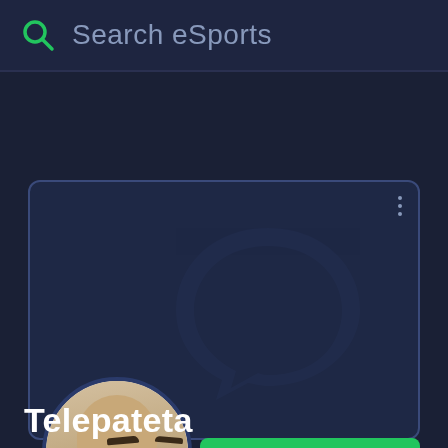[Figure (screenshot): Search bar with green search icon and placeholder text 'Search eSports' on dark navy background]
[Figure (screenshot): User profile card with chat bubble watermark, three-dot menu, user avatar photo (bald man with earphones), green Join Server button, and username Telepateta]